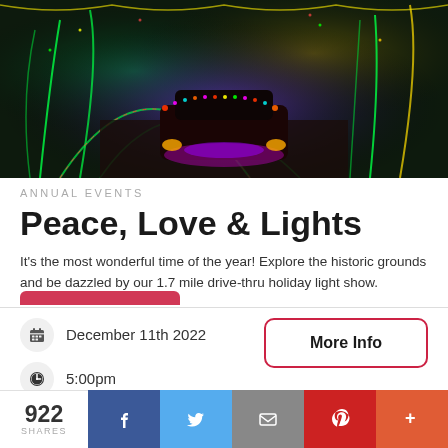[Figure (photo): Night photo of holiday light show with a car covered in colorful lights driving through illuminated arches and tree-lined path with Christmas lights]
ANNUAL EVENTS
Peace, Love & Lights
It's the most wonderful time of the year! Explore the historic grounds and be dazzled by our 1.7 mile drive-thru holiday light show.
December 11th 2022
5:00pm
More Info
922 SHARES